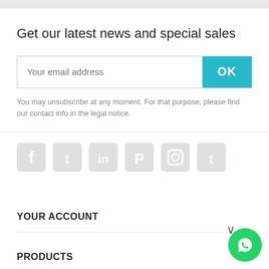Get our latest news and special sales
Your email address
OK
You may unsubscribe at any moment. For that purpose, please find our contact info in the legal notice.
[Figure (illustration): Row of 6 social media icons (Facebook, Twitter, LinkedIn, Pinterest, Instagram, Tumblr) in light grey]
YOUR ACCOUNT
PRODUCTS
[Figure (illustration): Green WhatsApp floating button in bottom right corner]